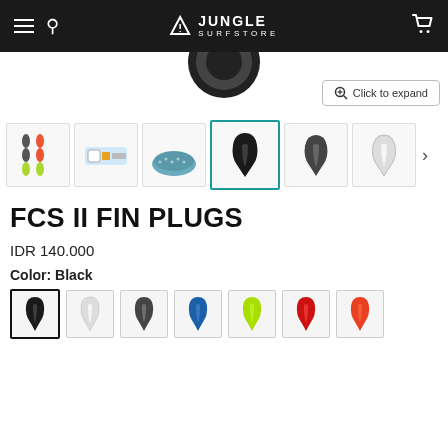Jungle Surfstore - navigation header
[Figure (photo): Product main image area showing partial view of a circular fin plug component]
[Figure (photo): Thumbnail gallery showing 5 product images: multi-color fin plugs set, fin tool kit, surfboard with fin plugs, single black fin plug (selected/active), dark grey fin plug, and white fin plug, with a next arrow]
FCS II FIN PLUGS
IDR 140.000
Color: Black
[Figure (photo): Color swatches row showing 7 fin plug color options: Black (selected), White, Dark Grey, Blue, Green/Lime, Red, Orange-Red]